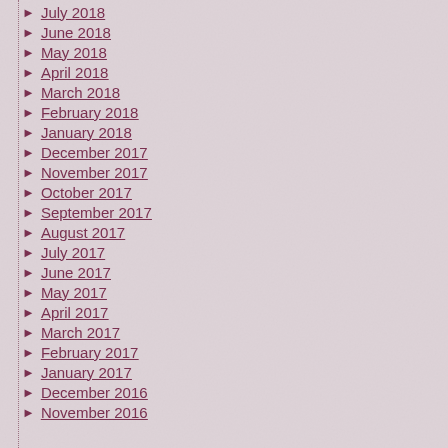July 2018
June 2018
May 2018
April 2018
March 2018
February 2018
January 2018
December 2017
November 2017
October 2017
September 2017
August 2017
July 2017
June 2017
May 2017
April 2017
March 2017
February 2017
January 2017
December 2016
November 2016